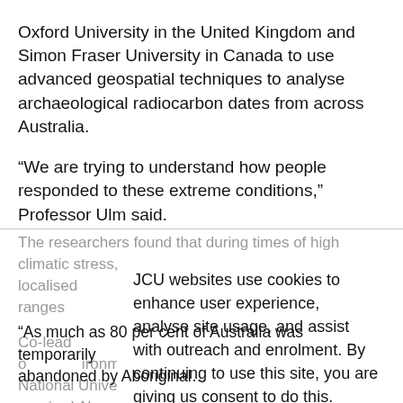Oxford University in the United Kingdom and Simon Fraser University in Canada to use advanced geospatial techniques to analyse archaeological radiocarbon dates from across Australia.
“We are trying to understand how people responded to these extreme conditions,” Professor Ulm said.
The researchers found that during times of high climatic stress, human populations contracted into localised ranges—where water and food—
Co-lead of the study, Dr Willosen, of the Fenner School of Environment and Society at The Australian National University, said surviving the last Ice age required Aboriginal communities to make massive change.
JCU websites use cookies to enhance user experience, analyse site usage, and assist with outreach and enrolment. By continuing to use this site, you are giving us consent to do this.
“As much as 80 per cent of Australia was temporarily abandoned by Aboriginal…